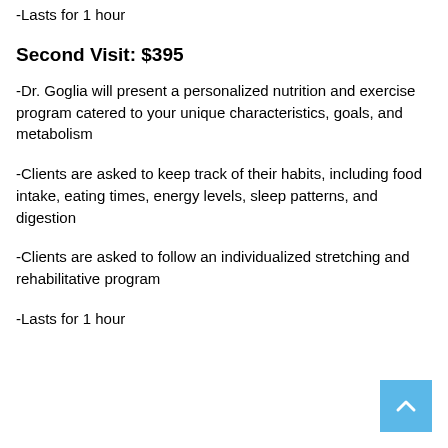-Lasts for 1 hour
Second Visit: $395
-Dr. Goglia will present a personalized nutrition and exercise program catered to your unique characteristics, goals, and metabolism
-Clients are asked to keep track of their habits, including food intake, eating times, energy levels, sleep patterns, and digestion
-Clients are asked to follow an individualized stretching and rehabilitative program
-Lasts for 1 hour